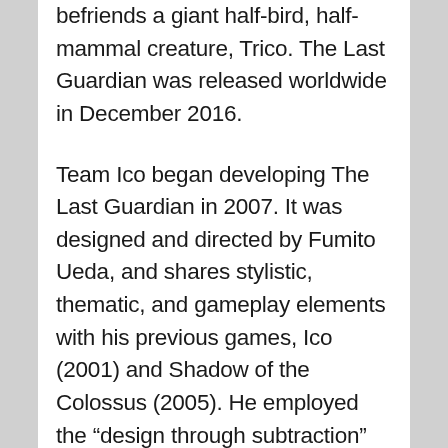befriends a giant half-bird, half-mammal creature, Trico. The Last Guardian was released worldwide in December 2016.
Team Ico began developing The Last Guardian in 2007. It was designed and directed by Fumito Ueda, and shares stylistic, thematic, and gameplay elements with his previous games, Ico (2001) and Shadow of the Colossus (2005). He employed the “design through subtraction” approach he had used for his previous games, removing elements that did not contribute to the core theme of the connection between the boy and Trico.
Sony announced The Last Guardian at E3 2009 with a planned release in 2011 for the PlayStation